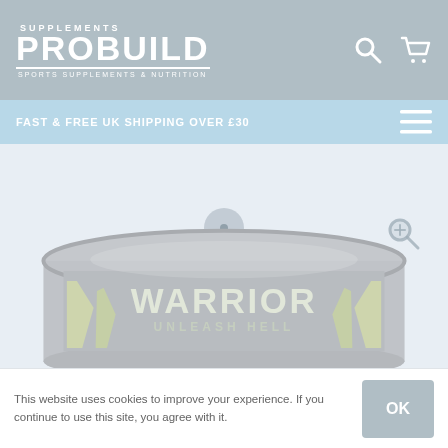SUPPLEMENTS PROBUILD SPORTS SUPPLEMENTS & NUTRITION
FAST & FREE UK SHIPPING OVER £30
[Figure (photo): Warrior Unleash Hell supplement tub product photo, partially visible, gray container with yellow/green design elements and 'WARRIOR UNLEASH HELL' text on the label]
This website uses cookies to improve your experience. If you continue to use this site, you agree with it.